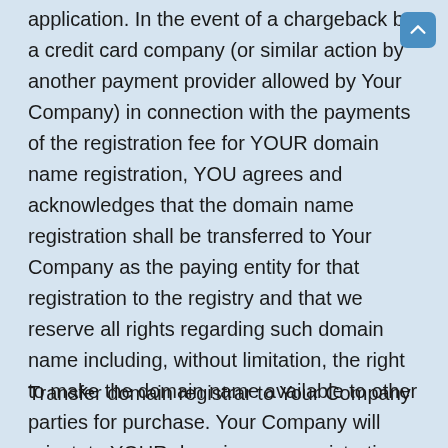application. In the event of a chargeback by a credit card company (or similar action by another payment provider allowed by Your Company) in connection with the payments of the registration fee for YOUR domain name registration, YOU agrees and acknowledges that the domain name registration shall be transferred to Your Company as the paying entity for that registration to the registry and that we reserve all rights regarding such domain name including, without limitation, the right to make the domain name available to other parties for purchase. Your Company will reinstate YOUR domain name registration solely at Your Company's discretion, and subject to our receipt of the initial registration or renewal fee and our then-current reinstatement fee.
Transfer domain registrar to Your Company